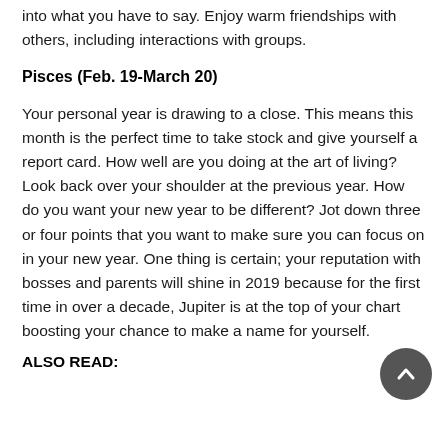into what you have to say. Enjoy warm friendships with others, including interactions with groups.
Pisces (Feb. 19-March 20)
Your personal year is drawing to a close. This means this month is the perfect time to take stock and give yourself a report card. How well are you doing at the art of living? Look back over your shoulder at the previous year. How do you want your new year to be different? Jot down three or four points that you want to make sure you can focus on in your new year. One thing is certain; your reputation with bosses and parents will shine in 2019 because for the first time in over a decade, Jupiter is at the top of your chart boosting your chance to make a name for yourself.
ALSO READ: